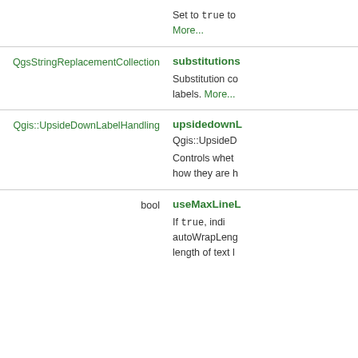Set to true to More...
QgsStringReplacementCollection  substitutions
Substitution co... labels. More...
Qgis::UpsideDownLabelHandling  upsidedownL  Qgis::UpsideD
Controls whet... how they are h...
bool  useMaxLineL
If true, indi... autoWrapLeng... length of text l...